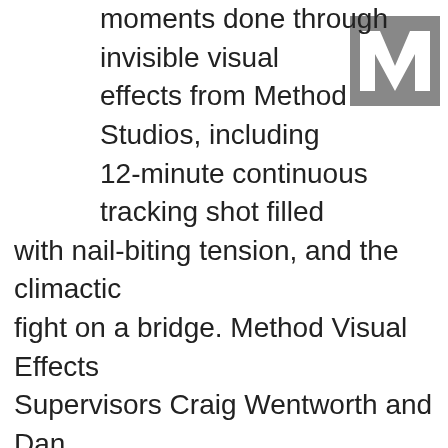[Figure (logo): Method Studios logo: grey square with white M letterform]
moments done through invisible visual effects from Method Studios, including 12-minute continuous tracking shot filled with nail-biting tension, and the climactic fight on a bridge. Method Visual Effects Supervisors Craig Wentworth and Dan Bethell teamed with Production VFX Supervisor Mark O. Forker to seamlessly blend practical footage and CG elements, resulting in high intensity sequences that keep audiences on the edges of their seats.

Wentworth oversaw Method's work in creating the 'oner,' a frenetic and intimate continuous shot that stays with Hemsworth and Rudhraksh Jaiswal, who plays the role of 'Ovi' as they are pursued first on foot and